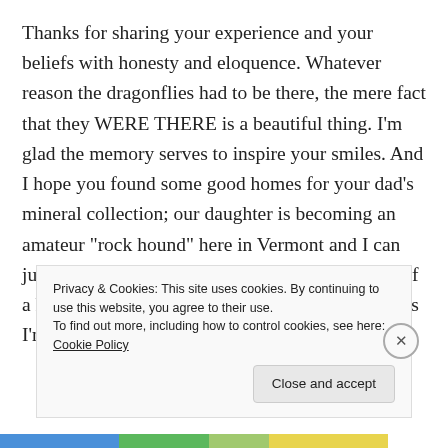Thanks for sharing your experience and your beliefs with honesty and eloquence. Whatever reason the dragonflies had to be there, the mere fact that they WERE THERE is a beautiful thing. I'm glad the memory serves to inspire your smiles. And I hope you found some good homes for your dad's mineral collection; our daughter is becoming an amateur "rock hound" here in Vermont and I can just imagine her collection becoming something of a hoard. They are meaningful and special to her, as I'm sure your
Privacy & Cookies: This site uses cookies. By continuing to use this website, you agree to their use.
To find out more, including how to control cookies, see here: Cookie Policy
Close and accept